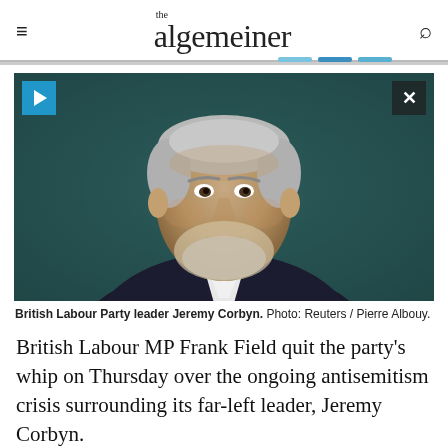the algemeiner
[Figure (photo): Photo of British Labour Party leader Jeremy Corbyn, a grey-haired man in a dark suit, looking seriously at something off-camera. Background is dark teal/green. Play button icon in top-left corner, close button in top-right corner.]
British Labour Party leader Jeremy Corbyn. Photo: Reuters / Pierre Albouy.
British Labour MP Frank Field quit the party’s whip on Thursday over the ongoing antisemitism crisis surrounding its far-left leader, Jeremy Corbyn.
In his resignation letter, the 76-year-old